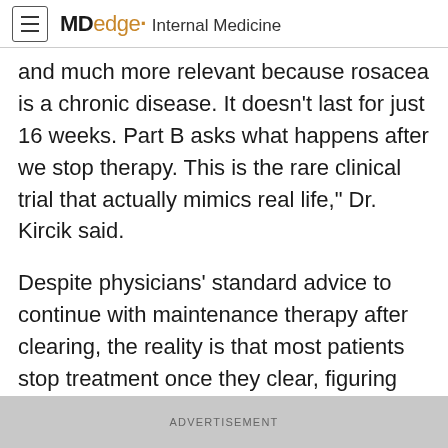MDedge Internal Medicine
and much more relevant because rosacea is a chronic disease. It doesn’t last for just 16 weeks. Part B asks what happens after we stop therapy. This is the rare clinical trial that actually mimics real life,” Dr. Kircik said.
Despite physicians’ standard advice to continue with maintenance therapy after clearing, the reality is that most patients stop treatment once they clear, figuring they’ll resume if they relapse, he asserted. Part B of
ADVERTISEMENT